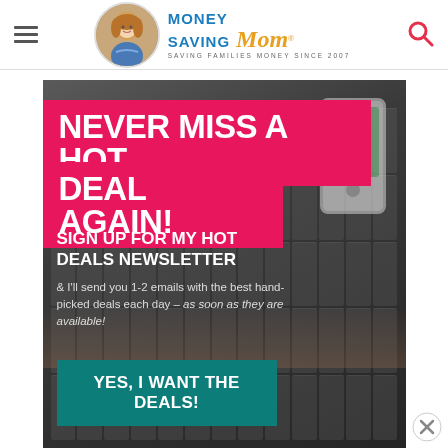[Figure (logo): Money Saving Mom logo with circular photo of woman, blue MONEY SAVING text, gold italic Mom text, tagline SAVING FAMILIES MONEY SINCE 2007]
[Figure (infographic): Newsletter sign-up banner ad. Hot pink background bars with white bold text 'NEVER MISS A HOT DEAL AGAIN!' over a dark photo of laptop keyboard and phone. White bold text 'SIGN UP FOR MY HOT DEALS NEWSLETTER' with body text '& I'll send you 1-2 emails with the best hand-picked deals each day - as soon as they are available!' Teal CTA button 'YES, I WANT THE DEALS!']